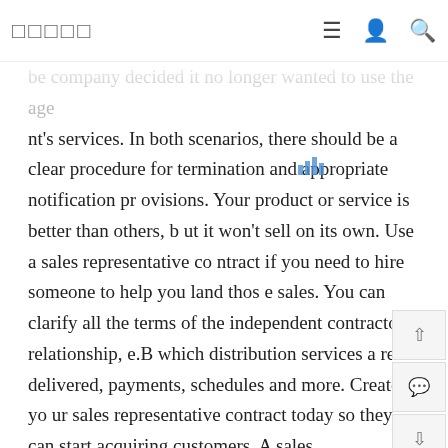□□□□□   ≡   👤   🔍
be company decided it no longer wanted to use the age nt's services. In both scenarios, there should be a clear procedure for termination and appropriate notification provisions. Your product or service is better than others, but it won't sell on its own. Use a sales representative contract if you need to hire someone to help you land those sales. You can clarify all the terms of the independent contractor relationship, e.B which distribution services are delivered, payments, schedules and more. Create your sales representative contract today so they can start acquiring customers. A sales representative contract is the legal contract between the company and the person who sells the service or product for remuneration.
The agreement lists the terms and conditions and recitals when hiring an independent sales representative on behalf of the company. The contract describes the a